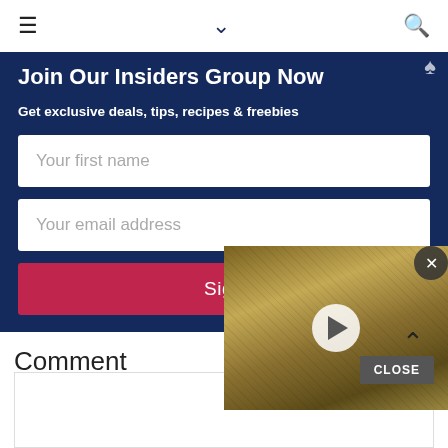≡  ⌄  🔍
Join Our Insiders Group Now
Get exclusive deals, tips, recipes & freebies
Your first name
Your email address
Sign
[Figure (other): Video thumbnail with play button overlay, showing close-up macro texture, brown/gold tones]
Comment
CLOSE